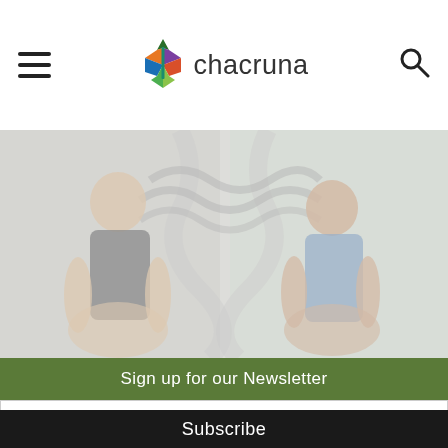[Figure (logo): Chacruna website header with hamburger menu, colorful diamond/leaf logo, 'chacruna' text, and search icon on white background]
[Figure (photo): Two men sitting in meditation poses against a colorful psychedelic tapestry background, image has a light/faded overlay effect]
Sign up for our Newsletter
Your email address
Subscribe